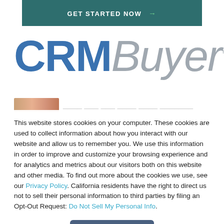[Figure (other): GET STARTED NOW button with right arrow on dark teal background]
[Figure (logo): CRMBuyer logo — CRM in bold blue, Buyer in italic gray, with TM superscript]
[Figure (photo): Partially visible photo of a person, cropped at bottom of logo area]
This website stores cookies on your computer. These cookies are used to collect information about how you interact with our website and allow us to remember you. We use this information in order to improve and customize your browsing experience and for analytics and metrics about our visitors both on this website and other media. To find out more about the cookies we use, see our Privacy Policy. California residents have the right to direct us not to sell their personal information to third parties by filing an Opt-Out Request: Do Not Sell My Personal Info.
[Figure (other): Accept button — dark slate blue rounded rectangle with white text 'Accept']